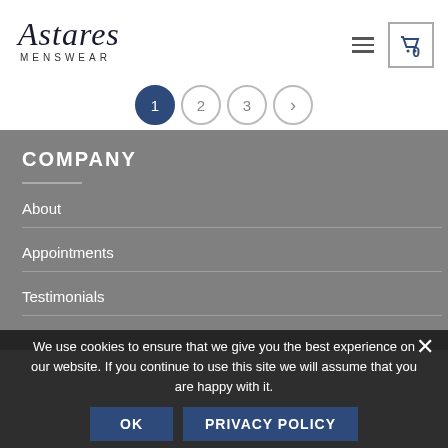[Figure (logo): Astares Menswear logo — italic serif wordmark with MENSWEAR subtitle in spaced caps]
[Figure (infographic): Pagination circles: filled blue circle with 1, outlined circle with 2, outlined circle with 3, outlined circle with right arrow]
COMPANY
About
Appointments
Testimonials
We use cookies to ensure that we give you the best experience on our website. If you continue to use this site we will assume that you are happy with it.
OK
PRIVACY POLICY